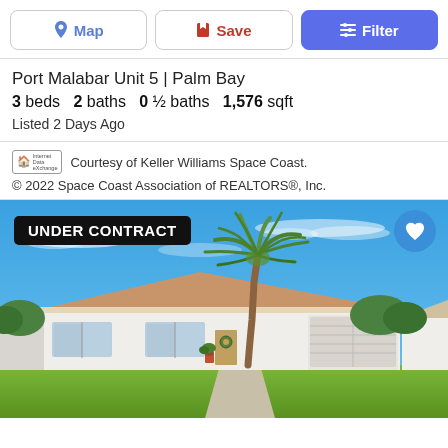Map | Save | Filter
Port Malabar Unit 5 | Palm Bay
3 beds  2 baths  0 ½ baths  1,576 sqft
Listed 2 Days Ago
Courtesy of Keller Williams Space Coast.
© 2022 Space Coast Association of REALTORS®, Inc.
[Figure (photo): Single-story ranch-style white house with tan/orange roof, a palm tree in the front yard, green lawn, and a two-car garage. Clear blue sky with light wispy clouds. A badge reads UNDER CONTRACT.]